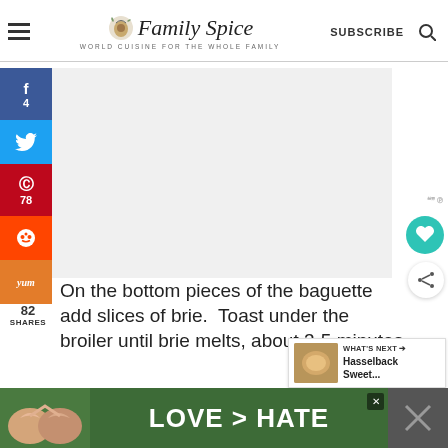Family Spice - WORLD CUISINE FOR THE WHOLE FAMILY - SUBSCRIBE
[Figure (screenshot): Social media share sidebar with Facebook (4), Twitter, Pinterest (78), Reddit, Yummly buttons]
[Figure (photo): Large food photo placeholder area (white/light gray)]
On the bottom pieces of the baguette add slices of brie.  Toast under the broiler until brie melts, about 3-5 minutes
82 SHARES
3
[Figure (infographic): WHAT'S NEXT arrow - Hasselback Sweet... with thumbnail image]
[Figure (photo): Advertisement banner: LOVE > HATE with hands forming heart shape on green background]